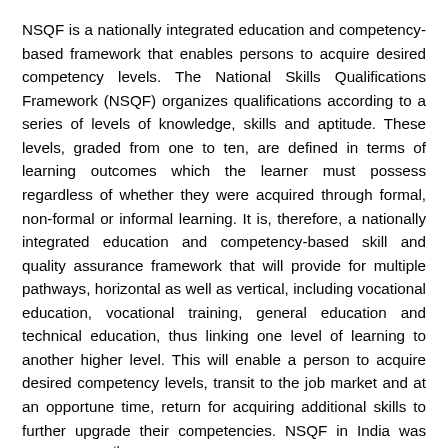NSQF is a nationally integrated education and competency-based framework that enables persons to acquire desired competency levels. The National Skills Qualifications Framework (NSQF) organizes qualifications according to a series of levels of knowledge, skills and aptitude. These levels, graded from one to ten, are defined in terms of learning outcomes which the learner must possess regardless of whether they were acquired through formal, non-formal or informal learning. It is, therefore, a nationally integrated education and competency-based skill and quality assurance framework that will provide for multiple pathways, horizontal as well as vertical, including vocational education, vocational training, general education and technical education, thus linking one level of learning to another higher level. This will enable a person to acquire desired competency levels, transit to the job market and at an opportune time, return for acquiring additional skills to further upgrade their competencies. NSQF in India was notified on 27th December 2013.